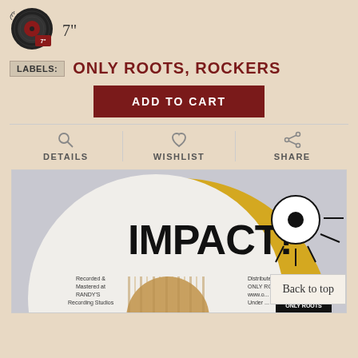[Figure (logo): 7-inch vinyl record icon with red label]
7"
LABELS: ONLY ROOTS, ROCKERS
ADD TO CART
DETAILS
WISHLIST
SHARE
[Figure (photo): Close-up photo of a 7-inch vinyl record with IMPACT! label design in gold and white, showing center hole and recording credits text]
Back to top